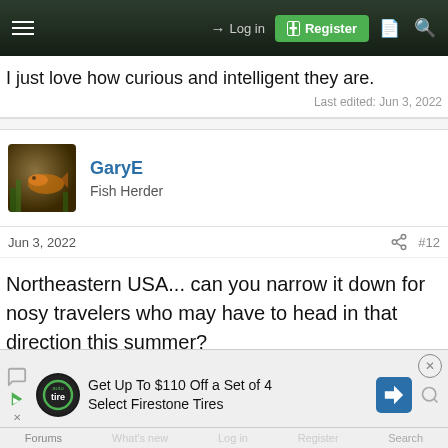Log in | Register
I just love how curious and intelligent they are.
Last edited: Jun 3, 2022
GaryE
Fish Herder
Jun 3, 2022   #12
Northeastern USA... can you narrow it down for nosy travelers who may have to head in that direction this summer?
[Figure (screenshot): Advertisement: Get Up To $110 Off a Set of 4 Select Firestone Tires with Pep Boys and Tire auto logos]
Forums  What's new  Log in  Register  Search